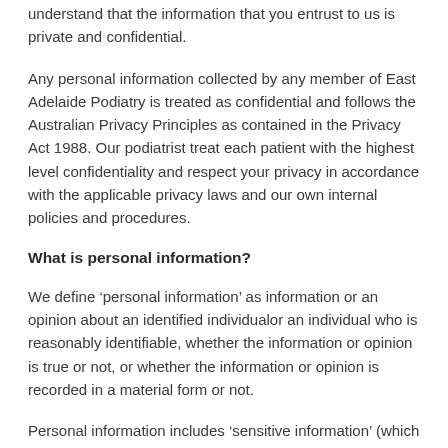understand that the information that you entrust to us is private and confidential.
Any personal information collected by any member of East Adelaide Podiatry is treated as confidential and follows the Australian Privacy Principles as contained in the Privacy Act 1988. Our podiatrist treat each patient with the highest level confidentiality and respect your privacy in accordance with the applicable privacy laws and our own internal policies and procedures.
What is personal information?
We define ‘personal information’ as information or an opinion about an identified individualor an individual who is reasonably identifiable, whether the information or opinion is true or not, or whether the information or opinion is recorded in a material form or not.
Personal information includes ‘sensitive information’ (which